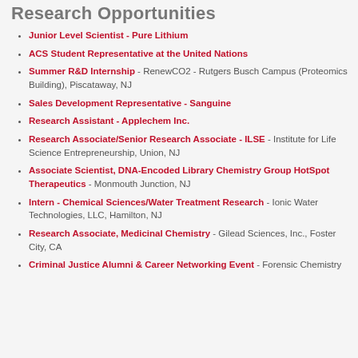Research Opportunities
Junior Level Scientist - Pure Lithium
ACS Student Representative at the United Nations
Summer R&D Internship - RenewCO2 - Rutgers Busch Campus (Proteomics Building), Piscataway, NJ
Sales Development Representative - Sanguine
Research Assistant - Applechem Inc.
Research Associate/Senior Research Associate - ILSE - Institute for Life Science Entrepreneurship, Union, NJ
Associate Scientist, DNA-Encoded Library Chemistry Group HotSpot Therapeutics - Monmouth Junction, NJ
Intern - Chemical Sciences/Water Treatment Research - Ionic Water Technologies, LLC, Hamilton, NJ
Research Associate, Medicinal Chemistry - Gilead Sciences, Inc., Foster City, CA
Criminal Justice Alumni & Career Networking Event - Forensic Chemistry